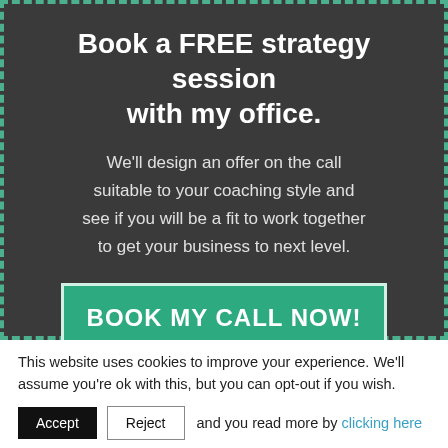Book a FREE strategy session with my office.
We'll design an offer on the call suitable to your coaching style and see if you will be a fit to work together to get your business to next level.
BOOK MY CALL NOW!
This website uses cookies to improve your experience. We'll assume you're ok with this, but you can opt-out if you wish.
Accept   Reject   and you read more by clicking here